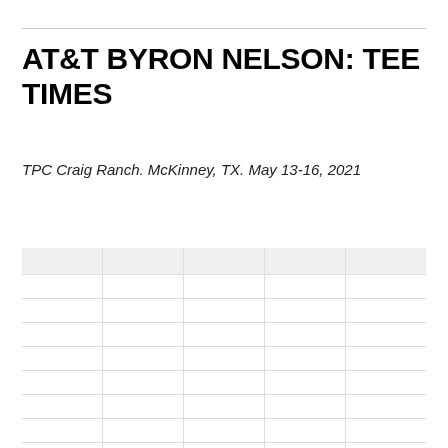AT&T BYRON NELSON: TEE TIMES
TPC Craig Ranch. McKinney, TX. May 13-16, 2021
|  |  |  |  |  |
| --- | --- | --- | --- | --- |
|  |  |  |  |  |
|  |  |  |  |  |
|  |  |  |  |  |
|  |  |  |  |  |
|  |  |  |  |  |
|  |  |  |  |  |
|  |  |  |  |  |
|  |  |  |  |  |
|  |  |  |  |  |